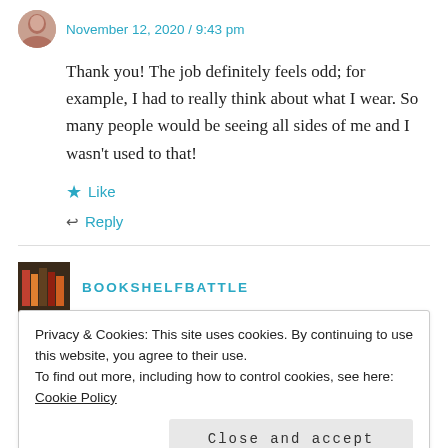November 12, 2020 / 9:43 pm
Thank you! The job definitely feels odd; for example, I had to really think about what I wear. So many people would be seeing all sides of me and I wasn't used to that!
★ Like
↩ Reply
BOOKSHELFBATTLE
Privacy & Cookies: This site uses cookies. By continuing to use this website, you agree to their use.
To find out more, including how to control cookies, see here: Cookie Policy
Close and accept
That is a brave admission to say which candidate you support